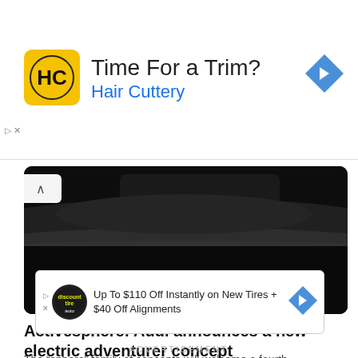[Figure (screenshot): Hair Cuttery advertisement banner: yellow HC logo icon on left, text 'Time For a Trim?' with 'Hair Cuttery' in blue, blue diamond navigation arrow on right]
[Figure (photo): Dark automotive photo showing underside/side of a car, nearly black, with a blue 'CAR' badge in bottom left]
Activesphere: Audi announces a new electric adventurer concept
The “sphere” family of concepts will welcome a fourth
[Figure (screenshot): Discount Tire advertisement: 'Up To $110 Off Instantly on New Tires + $40 Off Alignments' with Discount Tire logo and blue arrow]
ADVERTISEMENT